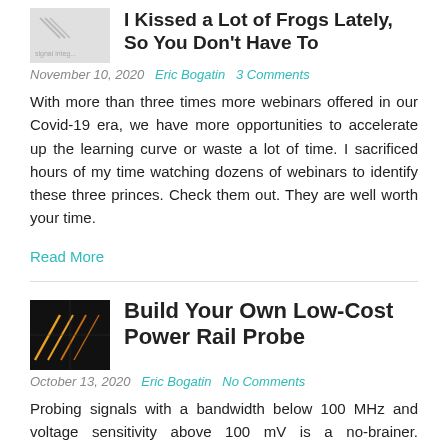I Kissed a Lot of Frogs Lately, So You Don't Have To
November 10, 2020   Eric Bogatin   3 Comments
With more than three times more webinars offered in our Covid-19 era, we have more opportunities to accelerate up the learning curve or waste a lot of time. I sacrificed hours of my time watching dozens of webinars to identify these three princes. Check them out. They are well worth your time.
Read More
Build Your Own Low-Cost Power Rail Probe
[Figure (photo): Thumbnail image: oscilloscope waveform showing yellow diagonal lines on dark/black background]
October 13, 2020   Eric Bogatin   No Comments
Probing signals with a bandwidth below 100 MHz and voltage sensitivity above 100 mV is a no-brainer. Regardless of the